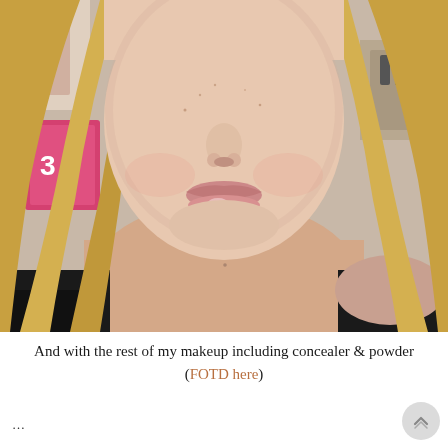[Figure (photo): Close-up photo of a young woman with long blonde hair, fair skin with freckles, wearing a black top. She is smiling softly with pink glossy lips. Background shows a room with some pink and white items.]
And with the rest of my makeup including concealer & powder (FOTD here)
...